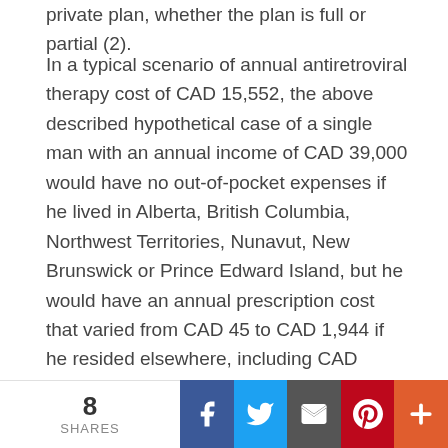private plan, whether the plan is full or partial (2).
In a typical scenario of annual antiretroviral therapy cost of CAD 15,552, the above described hypothetical case of a single man with an annual income of CAD 39,000 would have no out-of-pocket expenses if he lived in Alberta, British Columbia, Northwest Territories, Nunavut, New Brunswick or Prince Edward Island, but he would have an annual prescription cost that varied from CAD 45 to CAD 1,944 if he resided elsewhere, including CAD 1,352 in Ontario (2). In the other hypothetical case, a married woman with around twice the annual household income of the first case, would receive her medications at no cost in the same six regions, incurred the same expense if she lived in Nova Scotia, Yukon and Quebec (although she would have had to pay a higher premium when she filed her higher
8 SHARES | Facebook | Twitter | Email | Pinterest | More